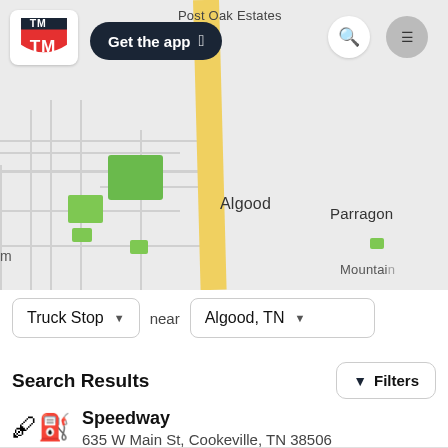[Figure (screenshot): Map screenshot showing Algood and Parragon area in Tennessee, with route 111 badge, yellow road, and green areas. TM logo, Get the app button, search and menu icons overlaid on top.]
Truck Stop near Algood, TN
Search Results
Speedway
635 W Main St, Cookeville, TN 38506
Truck Parking  Diesel Fuel  Restrooms  See more
1.4 mi